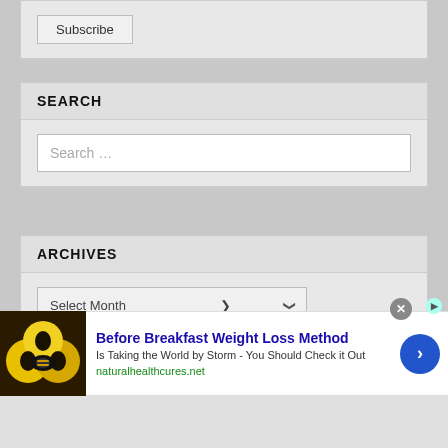Subscribe
SEARCH
Search ...
ARCHIVES
Select Month
[Figure (screenshot): Advertisement banner for 'Before Breakfast Weight Loss Method' from naturalhealthcures.net, with a photo of lemons/food, bold blue title, subtitle text and a blue circle arrow button]
Before Breakfast Weight Loss Method
Is Taking the World by Storm - You Should Check it Out
naturalhealthcures.net